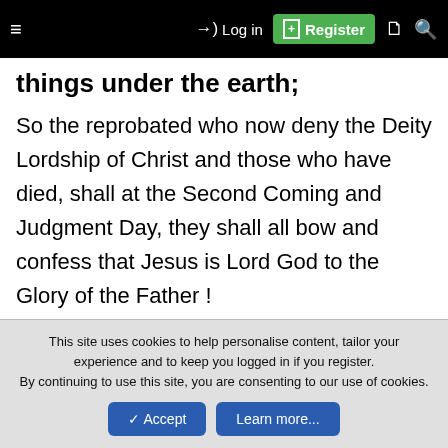≡   →) Log in   [+] Register   🗋   🔍
things under the earth;
So the reprobated who now deny the Deity Lordship of Christ and those who have died, shall at the Second Coming and Judgment Day, they shall all bow and confess that Jesus is Lord God to the Glory of the Father !
brightfame52
This site uses cookies to help personalise content, tailor your experience and to keep you logged in if you register.
By continuing to use this site, you are consenting to our use of cookies.